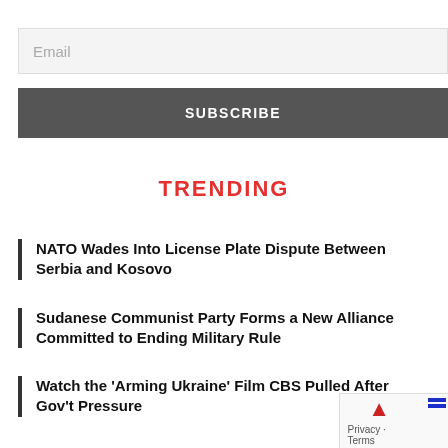Email
SUBSCRIBE
TRENDING
NATO Wades Into License Plate Dispute Between Serbia and Kosovo
Sudanese Communist Party Forms a New Alliance Committed to Ending Military Rule
Watch the 'Arming Ukraine' Film CBS Pulled After Gov't Pressure